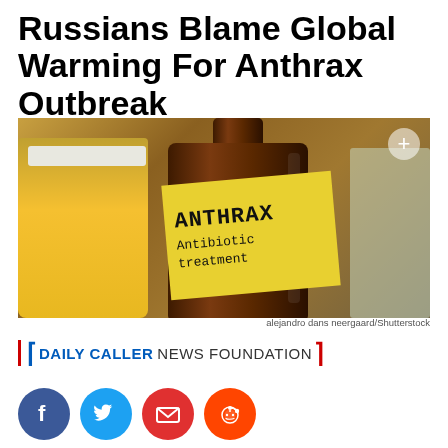Russians Blame Global Warming For Anthrax Outbreak
[Figure (photo): A brown glass bottle with a yellow label reading 'ANTHRAX Antibiotic treatment', surrounded by other glass containers, suggesting a laboratory or medical setting.]
alejandro dans neergaard/Shutterstock
[Figure (logo): Daily Caller News Foundation logo with blue bracket on left, blue bold 'DAILY CALLER' text, regular 'NEWS FOUNDATION' text, and red bracket on right.]
[Figure (infographic): Four social media share buttons: Facebook (blue circle with f), Twitter (light blue circle with bird), Email (red circle with envelope), Reddit (orange-red circle with alien mascot).]